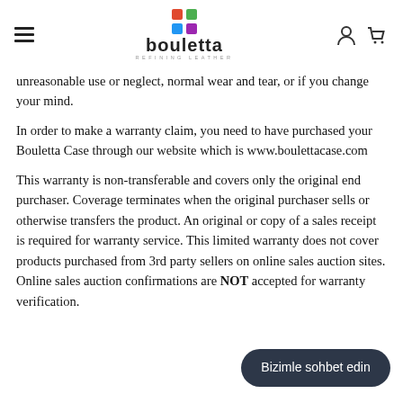Bouletta — Refining Leather
unreasonable use or neglect, normal wear and tear, or if you change your mind.
In order to make a warranty claim, you need to have purchased your Bouletta Case through our website which is www.boulettacase.com
This warranty is non-transferable and covers only the original end purchaser. Coverage terminates when the original purchaser sells or otherwise transfers the product. An original or copy of a sales receipt is required for warranty service. This limited warranty does not cover products purchased from 3rd party sellers on online sales auction sites. Online sales auction confirmations are NOT accepted for warranty verification.
Bizimle sohbet edin